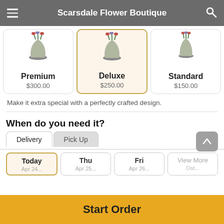Scarsdale Flower Boutique
[Figure (screenshot): Three product option cards: Premium $300.00, Deluxe $250.00 (selected, highlighted), Standard $150.00, each showing a flower vase image]
Make it extra special with a perfectly crafted design.
When do you need it?
Delivery | Pick Up tabs
Today | Thu | Fri | View More date selector
Start Order